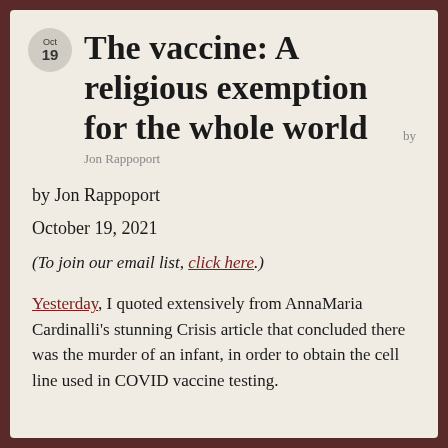The vaccine: A religious exemption for the whole world
by
Jon Rappoport
by Jon Rappoport
October 19, 2021
(To join our email list, click here.)
Yesterday, I quoted extensively from AnnaMaria Cardinalli's stunning Crisis article that concluded there was the murder of an infant, in order to obtain the cell line used in COVID vaccine testing.